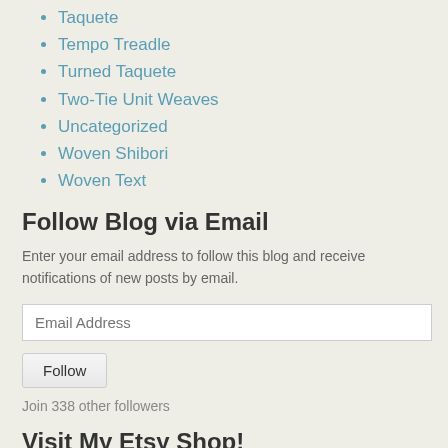Taquete
Tempo Treadle
Turned Taquete
Two-Tie Unit Weaves
Uncategorized
Woven Shibori
Woven Text
Follow Blog via Email
Enter your email address to follow this blog and receive notifications of new posts by email.
Email Address
Follow
Join 338 other followers
Visit My Etsy Shop!
[Figure (other): Etsy shop image placeholder box with orange border]